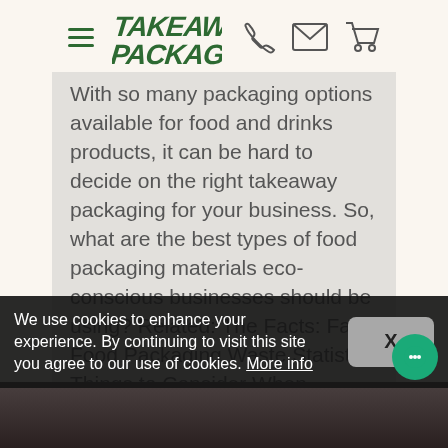Takeaway Packaging — navigation header with hamburger menu, logo, phone, email, and cart icons
With so many packaging options available for food and drinks products, it can be hard to decide on the right takeaway packaging for your business. So, what are the best types of food packaging materials eco-conscious businesses should be using? Related: The Facts: Fast-Food Packaging Waste Statistics Things to Consider When Choosing Food and Drinks ...
Continue reading
We use cookies to enhance your experience. By continuing to visit this site you agree to our use of cookies. More info